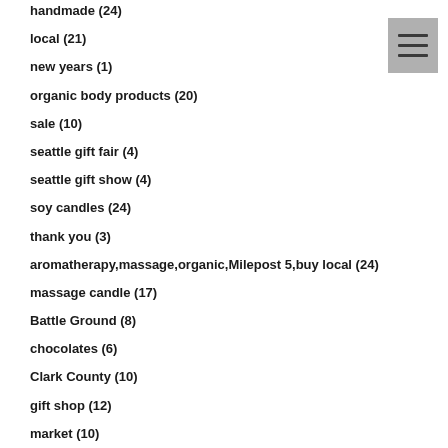handmade (24)
local (21)
new years (1)
organic body products (20)
sale (10)
seattle gift fair (4)
seattle gift show (4)
soy candles (24)
thank you (3)
aromatherapy,massage,organic,Milepost 5,buy local (24)
massage candle (17)
Battle Ground (8)
chocolates (6)
Clark County (10)
gift shop (12)
market (10)
Washington (15)
discount (3)